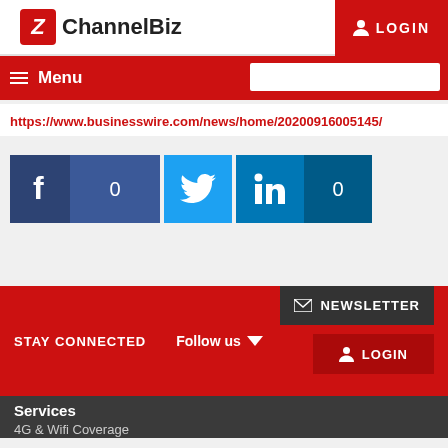ChannelBiz | LOGIN
Menu
https://www.businesswire.com/news/home/20200916005145/
[Figure (screenshot): Social sharing buttons: Facebook (0 shares), Twitter, LinkedIn (0 shares)]
STAY CONNECTED  Follow us  ▾
✉ NEWSLETTER
🖂 LOGIN
Services
4G & Wifi Coverage